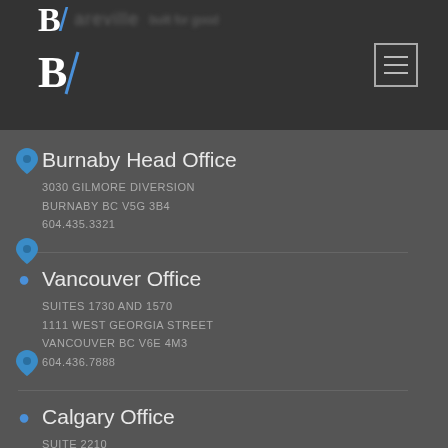B/ [logo] — navigation header with hamburger menu
Burnaby Head Office
3030 GILMORE DIVERSION
BURNABY BC V5G 3B4
604.435.3321
Vancouver Office
SUITES 1730 AND 1570
1111 WEST GEORGIA STREET
VANCOUVER BC V6E 4M3
604.436.7888
Calgary Office
SUITE 2210
150 9TH AVENUE SW
CALGARY AB T2P 3H9
403.451.9345